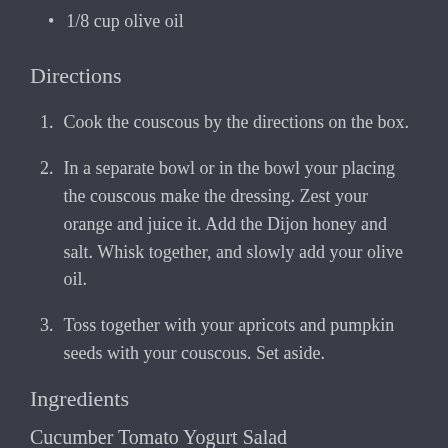1/8 cup olive oil
Directions
1. Cook the couscous by the directions on the box.
2. In a separate bowl or in the bowl your placing the couscous make the dressing. Zest your orange and juice it. Add the Dijon honey and salt. Whisk together, and slowly add your olive oil.
3. Toss together with your apricots and pumpkin seeds with your couscous. Set aside.
Ingredients
Cucumber Tomato Yogurt Salad
1/2 cucumber chopped